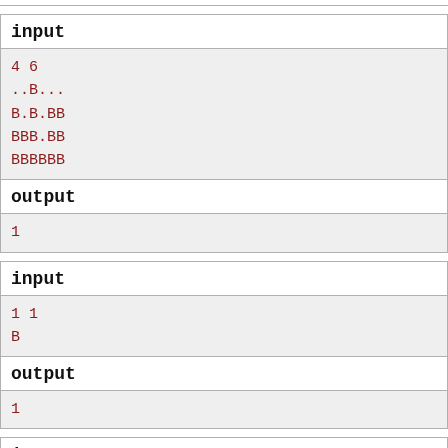| input |
| --- |
| 4 6
..B...
B.B.BB
BBB.BB
BBBBBB |
| output |
| --- |
| 1 |
| input |
| --- |
| 1 1
B |
| output |
| --- |
| 1 |
| input |
| --- |
| 10 7 |